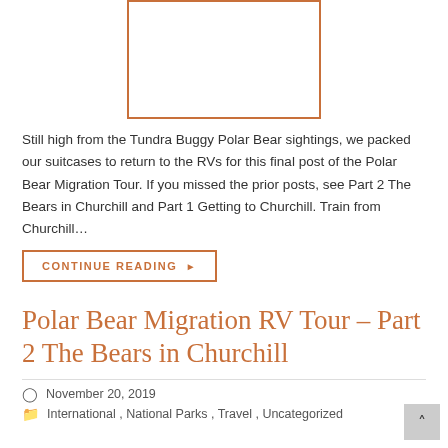[Figure (photo): Placeholder image with orange border, partially visible at top of page]
Still high from the Tundra Buggy Polar Bear sightings, we packed our suitcases to return to the RVs for this final post of the Polar Bear Migration Tour. If you missed the prior posts, see Part 2 The Bears in Churchill and Part 1 Getting to Churchill. Train from Churchill…
CONTINUE READING ▶
Polar Bear Migration RV Tour – Part 2 The Bears in Churchill
November 20, 2019
International, National Parks, Travel, Uncategorized